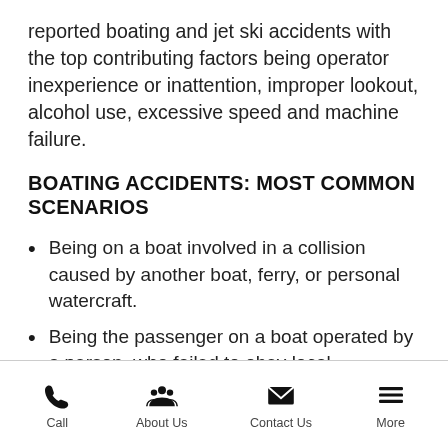reported boating and jet ski accidents with the top contributing factors being operator inexperience or inattention, improper lookout, alcohol use, excessive speed and machine failure.
BOATING ACCIDENTS: MOST COMMON SCENARIOS
Being on a boat involved in a collision caused by another boat, ferry, or personal watercraft.
Being the passenger on a boat operated by a person, who failed to obey local
Call | About Us | Contact Us | More